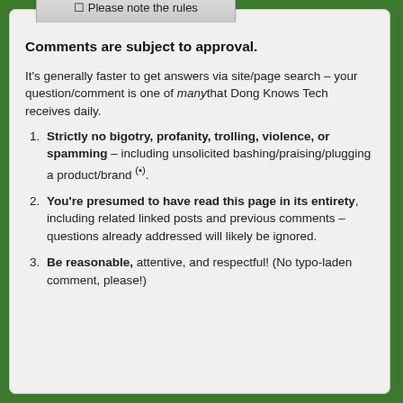☐ Please note the rules
Comments are subject to approval.
It's generally faster to get answers via site/page search – your question/comment is one of many that Dong Knows Tech receives daily.
Strictly no bigotry, profanity, trolling, violence, or spamming – including unsolicited bashing/praising/plugging a product/brand (•).
You're presumed to have read this page in its entirety, including related linked posts and previous comments – questions already addressed will likely be ignored.
Be reasonable, attentive, and respectful! (No typo-laden comment, please!)